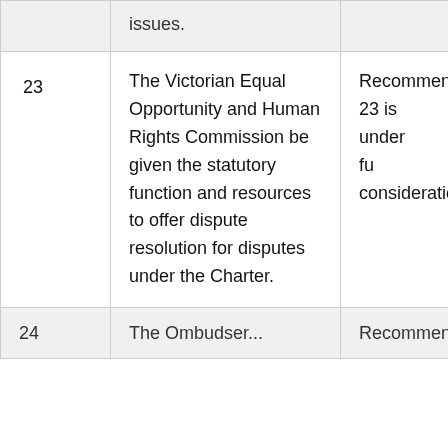|  | Recommendation | Status |
| --- | --- | --- |
|  | issues. |  |
| 23 | The Victorian Equal Opportunity and Human Rights Commission be given the statutory function and resources to offer dispute resolution for disputes under the Charter. | Recommendation 23 is under further consideration. |
| 24 | The Ombudsman... | Recommendation... |